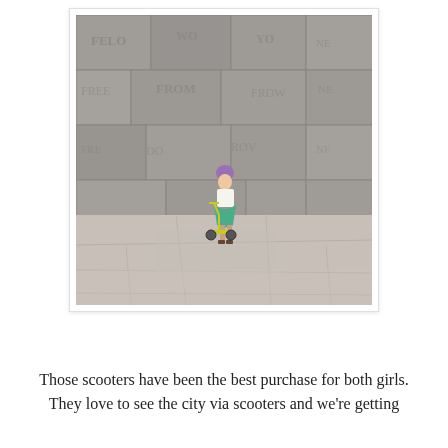[Figure (photo): A young girl wearing a purple helmet and green skirt stands next to a yellow scooter in front of a large stone wall with carved text, on a stone plaza.]
Those scooters have been the best purchase for both girls. They love to see the city via scooters and we're getting